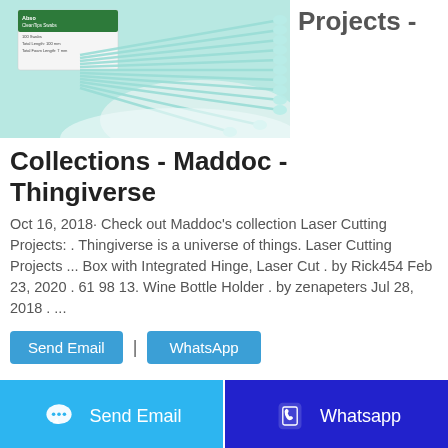[Figure (photo): Product photo of Absorbent CleanTips swabs, showing a green-labeled box with foam-tipped swabs fanned out beside it, on a white/grey background.]
Projects -
Collections - Maddoc - Thingiverse
Oct 16, 2018· Check out Maddoc's collection Laser Cutting Projects: . Thingiverse is a universe of things. Laser Cutting Projects ... Box with Integrated Hinge, Laser Cut . by Rick454 Feb 23, 2020 . 61 98 13. Wine Bottle Holder . by zenapeters Jul 28, 2018 . ...
Send Email | WhatsApp
Send Email
Whatsapp